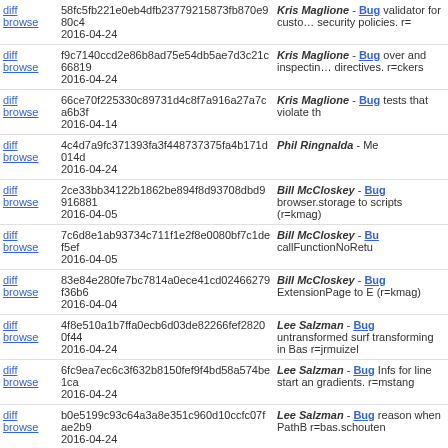| links | hash/date | description |
| --- | --- | --- |
| diff browse | 58fc5fb221e0eb4dfb23779215873fb870e980c4 2016-04-24 | Kris Maglione - Bug validator for custom security policies. r= |
| diff browse | f9c7140ccd2e86b8ad75e54db5ae7d3c21c66819 2016-04-24 | Kris Maglione - Bug over and inspecting directives. r=ckers |
| diff browse | 66ce70f225330c89731d4c8f7a916a27a7ca6b3f 2016-04-14 | Kris Maglione - Bug tests that violate th |
| diff browse | 4c4d7a9fc371393fa3f448737375fa4b171d014d 2016-04-24 | Phil Ringnalda - Me |
| diff browse | 2ce33bb34122b1862be894f8d93708dbd9916881 2016-04-05 | Bill McCloskey - Bug browser.storage to scripts (r=kmag) |
| diff browse | 7c6d8e1ab93734c711f1e2f8e0080bf7c1def5ef 2016-04-05 | Bill McCloskey - Bu callFunctionNoRetu |
| diff browse | 83e84e280fe7bc7814a0ece41cd02466279f36b6 2016-04-04 | Bill McCloskey - Bug ExtensionPage to E (r=kmag) |
| diff browse | 4f8e510a1b7ffa0ecb6d03de82266fef28200f44 2016-04-24 | Lee Salzman - Bug untransformed surf transforming in Bas r=jrmuizel |
| diff browse | 6fc9ea7ec6c3f632b8150fef9f4bd58a574be1ca 2016-04-24 | Lee Salzman - Bug Infs for line start an gradients. r=mstang |
| diff browse | b0e5199c93c64a3a8e351c960d10ccfc07fae2b9 2016-04-24 | Lee Salzman - Bug reason when PathB r=bas.schouten |
| diff | ff82389380c1e4c550314ffe536191075a405b0b | L. David Baron - B |